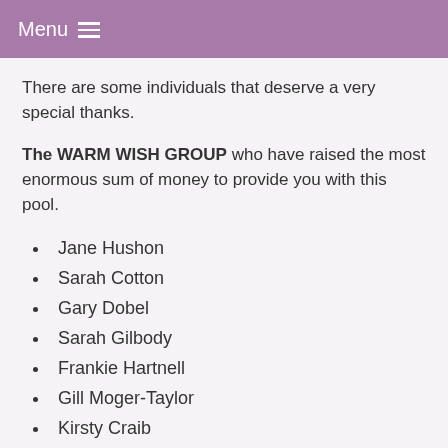Menu
There are some individuals that deserve a very special thanks.
The WARM WISH GROUP who have raised the most enormous sum of money to provide you with this pool.
Jane Hushon
Sarah Cotton
Gary Dobel
Sarah Gilbody
Frankie Hartnell
Gill Moger-Taylor
Kirsty Craib